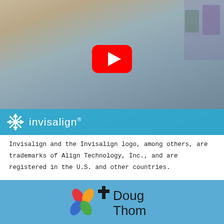[Figure (screenshot): Invisalign promotional video thumbnail showing a smiling blonde woman with a YouTube play button overlay and the Invisalign logo/brand in a blue bar at the bottom of the image.]
Invisalign and the Invisalign logo, among others, are trademarks of Align Technology, Inc., and are registered in the U.S. and other countries.
[Figure (logo): Doug Thompson logo on a blue background, showing a colorful pinwheel/cross icon and a cross symbol next to the text 'Doug Thompson' in sans-serif font.]